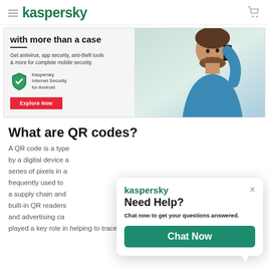kaspersky
[Figure (screenshot): Kaspersky Internet Security for Android promotional banner showing a man talking on phone with text 'with more than a case', product description, and Explore Now button]
What are QR codes?
A QR code is a type [of matrix bar code read] by a digital device a[nd stores information as a] series of pixels in a [square-shaped grid. They are] frequently used to [track information about products in] a supply chain and [many modern phones have] built-in QR readers[. QR codes are often used in] and advertising ca[mpaigns and have recently] played a key role in helping to trace coronavirus
[Figure (screenshot): Kaspersky chat popup with 'Need Help?' heading, 'Chat now to get your questions answered.' text, and a teal 'Chat Now' button]